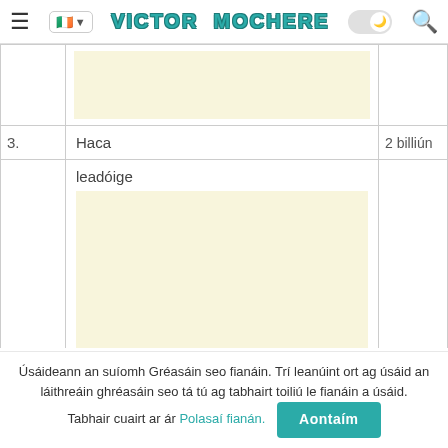Victor Mochere
|  |  |  |
| 3. | Haca | 2 billiún |
| 4. | leadóige | 1 billiún |
Úsáideann an suíomh Gréasáin seo fianáin. Trí leanúint ort ag úsáid an láithreáin ghréasáin seo tá tú ag tabhairt toiliú le fianáin a úsáid. Tabhair cuairt ar ár Polasaí fianán. Aontaím